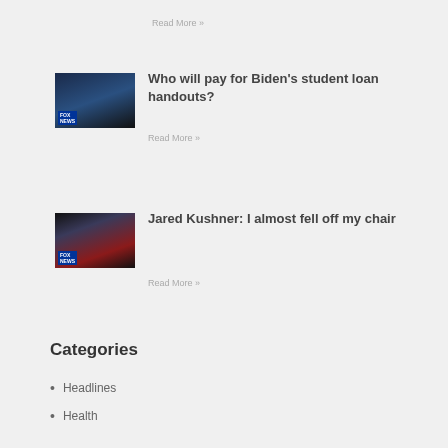Read More »
[Figure (photo): Fox News thumbnail showing Biden at podium with another person]
Who will pay for Biden's student loan handouts?
Read More »
[Figure (photo): Fox News thumbnail showing Jared Kushner in front of American flag]
Jared Kushner: I almost fell off my chair
Read More »
Categories
Headlines
Health